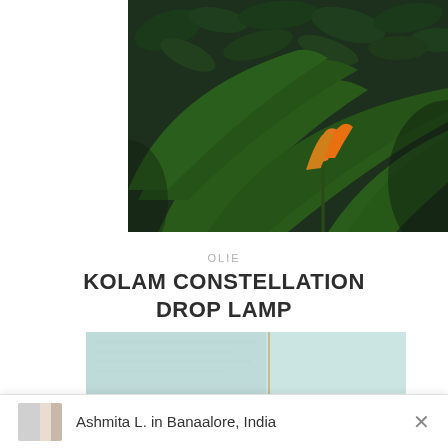[Figure (photo): Photograph of tropical plants with large dark green leaves and an orange bird-of-paradise flower against a leafy dark background]
OLIE
KOLAM CONSTELLATION DROP LAMP
Rs. 5,100.00
[Figure (photo): Partial view of a light teal/blue textured surface or product photo]
Ashmita L. in Banaalore, India